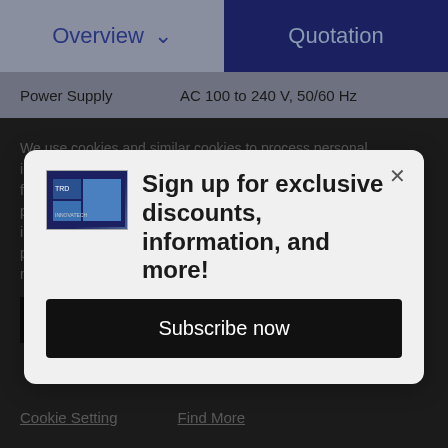Overview  ∨  |  Quotation
| Property | Value |
| --- | --- |
| Power Supply | AC 100 to 240 V, 50/60 Hz |
We use cookies and similar cookies to process personal information for the operation of our website. Technical and functional cookies are essential for this function. We also use performance cookies to further improve our website and to share information about your use of the website with our additional parties. You may opt out of performance cookies here, and learn more about how we use cookies here"
[Figure (screenshot): Modal popup with logo image on left side]
Sign up for exclusive discounts, information, and more!
Subscribe now
I understand
Cookie Setting    Find More